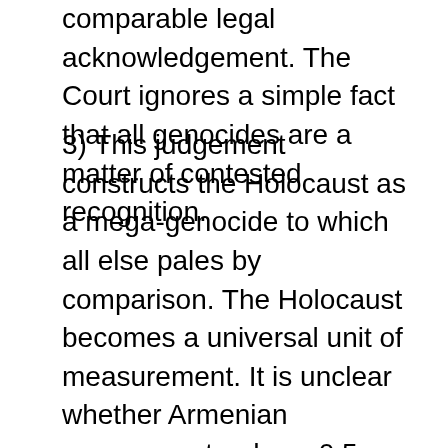comparable legal acknowledgement. The Court ignores a simple fact that all genocides are a matter of contested recognition.
3) This judgement constructs the Holocaust as a mega-genocide to which all else pales by comparison. The Holocaust becomes a universal unit of measurement. It is unclear whether Armenian massacre stands as 0.5 or 0.8 of that unit. One can trace this meta-crime approach in the recent cases in Strasbourg. In Hoffer & Annen v. Germany [2011], applicants were prosecuted for anti-abortion leaflets comparing the “Babycaust” to the Holocaust. In PETA v. Germany [2012], the animals rights association was defending its artistic campaign (“the Holocaust on your plate”), where pictures of animals in stocks were contrasted with images of inmates in concentration camps. In both cases, the Court (rather erroneously) found no violation of freedom of expression, found the applicants liable for